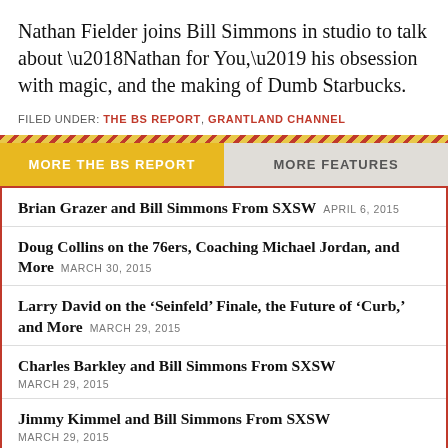Nathan Fielder joins Bill Simmons in studio to talk about ‘Nathan for You,’ his obsession with magic, and the making of Dumb Starbucks.
FILED UNDER: THE BS REPORT, GRANTLAND CHANNEL
MORE THE BS REPORT
MORE FEATURES
Brian Grazer and Bill Simmons From SXSW APRIL 6, 2015
Doug Collins on the 76ers, Coaching Michael Jordan, and More MARCH 30, 2015
Larry David on the ‘Seinfeld’ Finale, the Future of ‘Curb,’ and More MARCH 29, 2015
Charles Barkley and Bill Simmons From SXSW MARCH 29, 2015
Jimmy Kimmel and Bill Simmons From SXSW MARCH 29, 2015